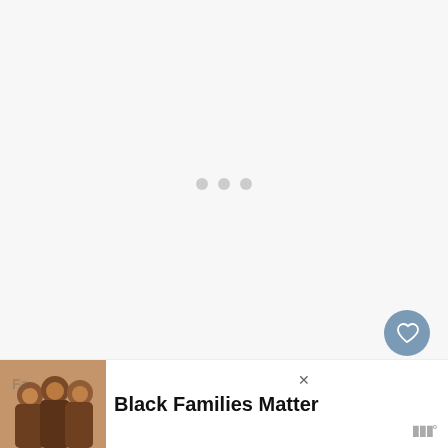[Figure (screenshot): Loading screen with three gray dots in the center on a light gray background]
[Figure (screenshot): Heart (favorite) floating action button, dark blue-gray circle with white heart icon]
[Figure (screenshot): Share floating action button, white circle with share/add icon]
[Figure (screenshot): What's Next bar showing thumbnail and text 'THIEVES!!!']
[Figure (screenshot): Bottom advertisement bar showing family photo and text 'Black Families Matter']